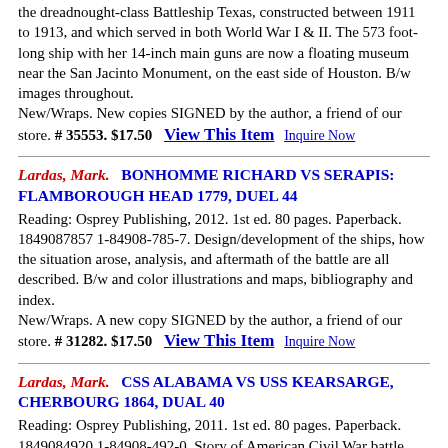the dreadnought-class Battleship Texas, constructed between 1911 to 1913, and which served in both World War I & II. The 573 foot-long ship with her 14-inch main guns are now a floating museum near the San Jacinto Monument, on the east side of Houston. B/w images throughout.
New/Wraps. New copies SIGNED by the author, a friend of our store. # 35553. $17.50   View This Item   Inquire Now
Lardas, Mark.   BONHOMME RICHARD VS SERAPIS: FLAMBOROUGH HEAD 1779, DUEL 44
Reading: Osprey Publishing, 2012. 1st ed. 80 pages. Paperback. 1849087857 1-84908-785-7. Design/development of the ships, how the situation arose, analysis, and aftermath of the battle are all described. B/w and color illustrations and maps, bibliography and index.
New/Wraps. A new copy SIGNED by the author, a friend of our store. # 31282. $17.50   View This Item   Inquire Now
Lardas, Mark.   CSS ALABAMA VS USS KEARSARGE, CHERBOURG 1864, DUAL 40
Reading: Osprey Publishing, 2011. 1st ed. 80 pages. Paperback. 1849084920 1-84908-492-0. Story of American Civil War battle fought off the French coast. Details daily life of the sailors, specifications of the ships, situation leading up to the battle, and